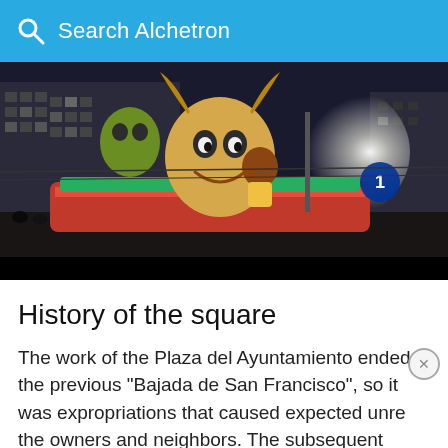Search Alchetron
[Figure (photo): Night parade float scene from Plaza del Ayuntamiento Valencia, featuring large cartoon character figures on an illuminated float moving through a crowded city street at night, with bright spotlights and city buildings in background.]
History of the square
The work of the Plaza del Ayuntamiento ended the previous "Bajada de San Francisco", so it was expropriations that caused expected unre... the owners and neighbors. The subsequent Plaza...